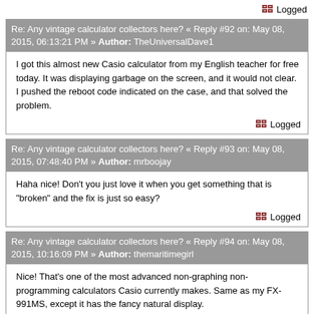Logged
Re: Any vintage calculator collectors here? « Reply #92 on: May 08, 2015, 06:13:21 PM » Author: TheUniversalDave1
I got this almost new Casio calculator from my English teacher for free today. It was displaying garbage on the screen, and it would not clear. I pushed the reboot code indicated on the case, and that solved the problem.
Logged
Re: Any vintage calculator collectors here? « Reply #93 on: May 08, 2015, 07:48:40 PM » Author: mrboojay
Haha nice!  Don't you just love it when you get something that is "broken" and the fix is just so easy?
Logged
Re: Any vintage calculator collectors here? « Reply #94 on: May 08, 2015, 10:16:09 PM » Author: themaritimegirl
Nice! That's one of the most advanced non-graphing non-programming calculators Casio currently makes. Same as my FX-991MS, except it has the fancy natural display.
Logged